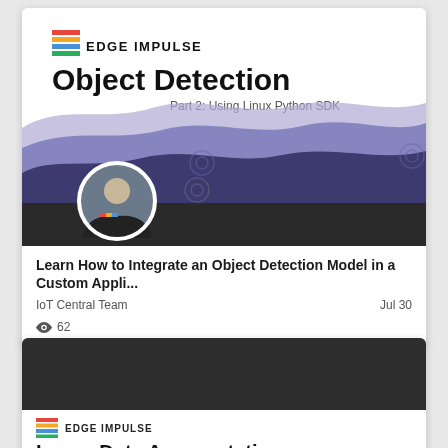[Figure (screenshot): Edge Impulse Object Detection article card thumbnail showing a layered purple mountain/wave illustration with the Edge Impulse logo, bold 'Object Detection' title, subtitle 'Part 2: Using Linux Python SDK', and a circular avatar photo of a person]
Learn How to Integrate an Object Detection Model in a Custom Appli...
IoT Central Team                                 Jul 30
62
[Figure (screenshot): Partially visible second article card with dark header and Edge Impulse logo and partial title 'Image Data Augmentation']